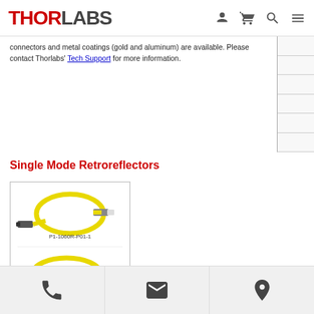Thorlabs navigation header with logo and icons
connectors and metal coatings (gold and aluminum) are available. Please contact Thorlabs' Tech Support for more information.
Single Mode Retroreflectors
[Figure (photo): Two fiber optic retroreflector products with yellow cables: P1-1060R-P01-1 (top) with FC connectors and P5-SMF28ER-P01-1 (bottom) with green APC connectors]
Phone, Email, and Location contact icons